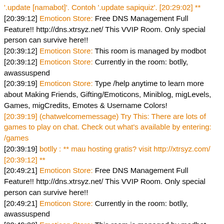'.update [namabot]'. Contoh '.update sapiquiz'. [20:29:02] **
[20:39:12] Emoticon Store: Free DNS Management Full Feature!! http://dns.xtrsyz.net/ This VVIP Room. Only special person can survive here!!
[20:39:12] Emoticon Store: This room is managed by modbot
[20:39:12] Emoticon Store: Currently in the room: botlly, awassuspend
[20:39:19] Emoticon Store: Type /help anytime to learn more about Making Friends, Gifting/Emoticons, Miniblog, migLevels, Games, migCredits, Emotes & Username Colors!
[20:39:19] (chatwelcomemessage) Try This: There are lots of games to play on chat. Check out what's available by entering: /games
[20:39:19] botlly : ** mau hosting gratis? visit http://xtrsyz.com/ [20:39:12] **
[20:49:21] Emoticon Store: Free DNS Management Full Feature!! http://dns.xtrsyz.net/ This VVIP Room. Only special person can survive here!!
[20:49:21] Emoticon Store: Currently in the room: botlly, awassuspend
[20:49:28] Emoticon Store: This room is managed by modbot
[20:49:28] Emoticon Store: Type /help anytime to learn more